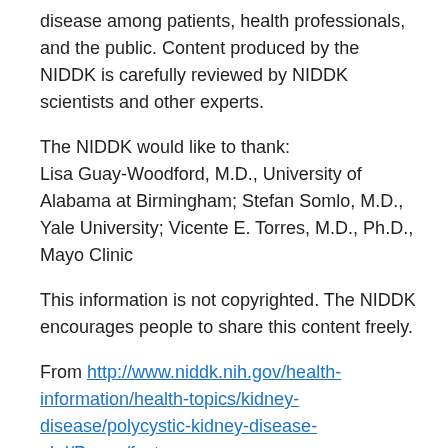disease among patients, health professionals, and the public. Content produced by the NIDDK is carefully reviewed by NIDDK scientists and other experts.
The NIDDK would like to thank:
Lisa Guay-Woodford, M.D., University of Alabama at Birmingham; Stefan Somlo, M.D., Yale University; Vicente E. Torres, M.D., Ph.D., Mayo Clinic
This information is not copyrighted. The NIDDK encourages people to share this content freely.
From http://www.niddk.nih.gov/health-information/health-topics/kidney-disease/polycystic-kidney-disease-pkd/Pages/facts.aspx
Share this: